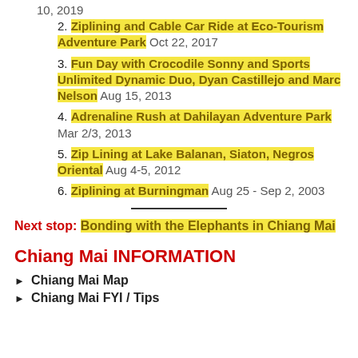10, 2019
2. Ziplining and Cable Car Ride at Eco-Tourism Adventure Park Oct 22, 2017
3. Fun Day with Crocodile Sonny and Sports Unlimited Dynamic Duo, Dyan Castillejo and Marc Nelson Aug 15, 2013
4. Adrenaline Rush at Dahilayan Adventure Park Mar 2/3, 2013
5. Zip Lining at Lake Balanan, Siaton, Negros Oriental Aug 4-5, 2012
6. Ziplining at Burningman Aug 25 - Sep 2, 2003
Next stop: Bonding with the Elephants in Chiang Mai
Chiang Mai INFORMATION
Chiang Mai Map
Chiang Mai FYI / Tips